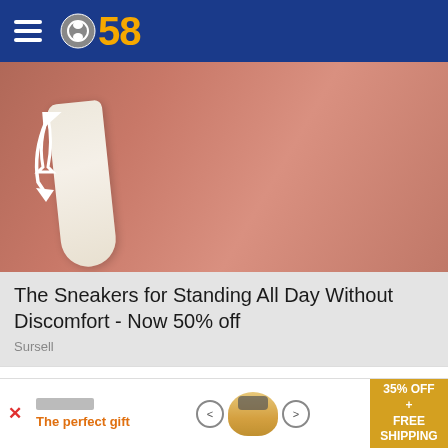CBS 58
[Figure (photo): Close-up photo of a foot/heel area with a white arrow pointing downward and a white bone-like shape visible, advertising sneakers]
The Sneakers for Standing All Day Without Discomfort - Now 50% off
Sursell
TOP STORIES
[Figure (photo): Partial thumbnail image of a top story, gray tones]
[Figure (advertisement): Bottom banner ad: The perfect gift - 35% OFF + FREE SHIPPING with food bowl imagery and navigation arrows]